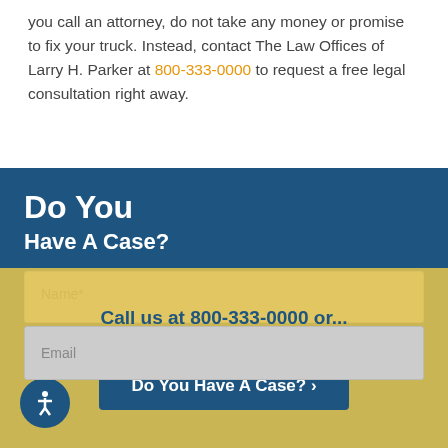you call an attorney, do not take any money or promise to fix your truck. Instead, contact The Law Offices of Larry H. Parker at 800-333-0000 to request a free legal consultation right away.
Do You Have A Case?
[Figure (screenshot): A web form with Name and Email fields on a dark blue background]
Call us at 800-333-0000 or... Submit your case to schedule a free consultation.
Do You Have A Case? >